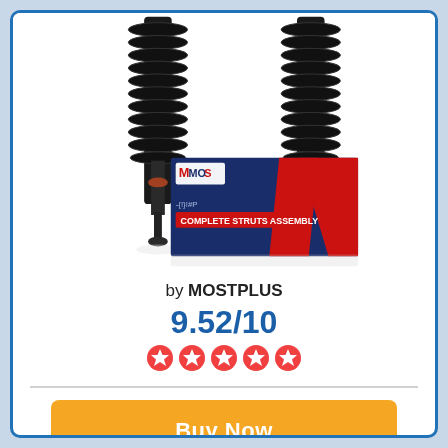[Figure (photo): Two black coil spring strut assemblies standing upright next to a blue and red MOSTPLUS branded product box labeled 'COMPLETE STRUTS ASSEMBLY']
by MOSTPLUS
9.52/10
[Figure (other): Five orange/red star rating icons]
Buy Now